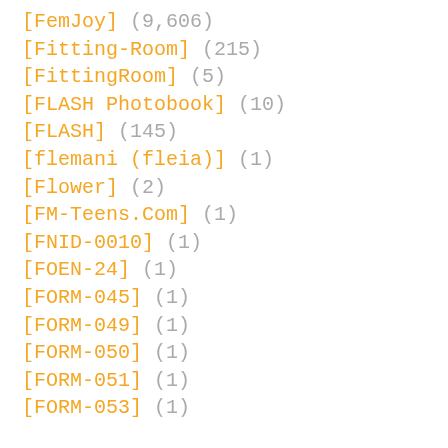[FemJoy] (9,606)
[Fitting-Room] (215)
[FittingRoom] (5)
[FLASH Photobook] (10)
[FLASH] (145)
[flemani (fleia)] (1)
[Flower] (2)
[FM-Teens.Com] (1)
[FNID-0010] (1)
[FOEN-24] (1)
[FORM-045] (1)
[FORM-049] (1)
[FORM-050] (1)
[FORM-051] (1)
[FORM-053] (1)